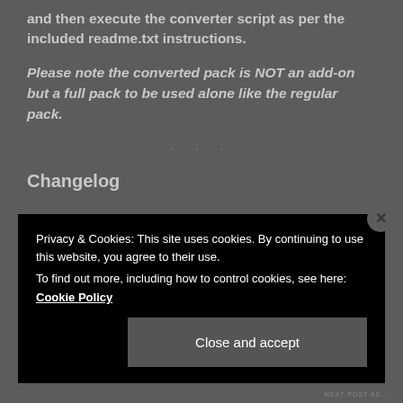and then execute the converter script as per the included readme.txt instructions.
Please note the converted pack is NOT an add-on but a full pack to be used alone like the regular pack.
Changelog
Privacy & Cookies: This site uses cookies. By continuing to use this website, you agree to their use.
To find out more, including how to control cookies, see here: Cookie Policy
NEXT POST AS...